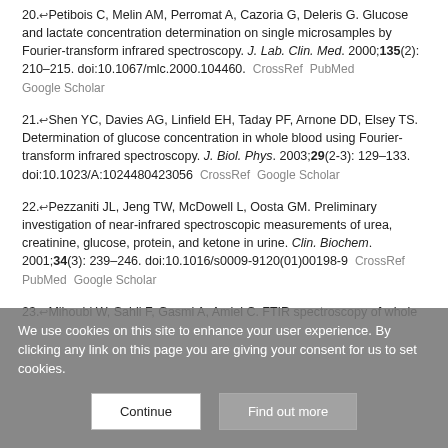20. Petibois C, Melin AM, Perromat A, Cazoria G, Deleris G. Glucose and lactate concentration determination on single microsamples by Fourier-transform infrared spectroscopy. J. Lab. Clin. Med. 2000;135(2): 210–215. doi:10.1067/mlc.2000.104460. CrossRef PubMed Google Scholar
21. Shen YC, Davies AG, Linfield EH, Taday PF, Arnone DD, Elsey TS. Determination of glucose concentration in whole blood using Fourier-transform infrared spectroscopy. J. Biol. Phys. 2003;29(2-3): 129–133. doi:10.1023/A:1024480423056 CrossRef Google Scholar
22. Pezzaniti JL, Jeng TW, McDowell L, Oosta GM. Preliminary investigation of near-infrared spectroscopic measurements of urea, creatinine, glucose, protein, and ketone in urine. Clin. Biochem. 2001;34(3): 239–246. doi:10.1016/s0009-9120(01)00198-9 CrossRef PubMed Google Scholar
23. Mihoubi W, Sahli F, Gasmi A, Amiel C. FTIR spectroscopy of whole...
We use cookies on this site to enhance your user experience. By clicking any link on this page you are giving your consent for us to set cookies.